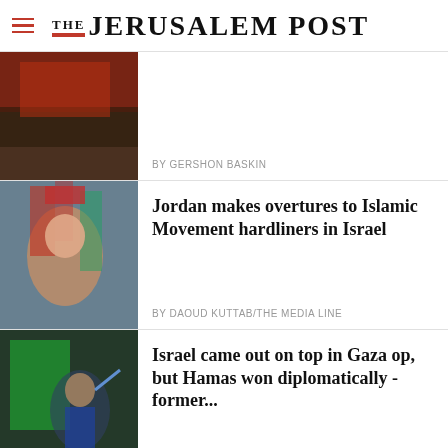THE JERUSALEM POST
[Figure (photo): Partial image of a protest scene with a red banner, partially cropped at top]
BY GERSHON BASKIN
[Figure (photo): Woman in red headband with PALESTINE text, shouting at protest with flags]
Jordan makes overtures to Islamic Movement hardliners in Israel
BY DAOUD KUTTAB/THE MEDIA LINE
[Figure (photo): Young man raising fist at rally with green Hamas flag]
Israel came out on top in Gaza op, but Hamas won diplomatically - former...
Advertisement